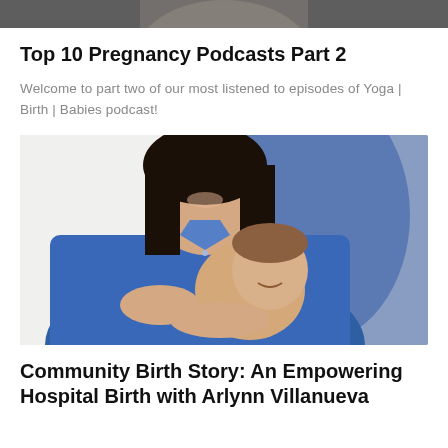[Figure (photo): Cropped top portion of a person (chin and neck area) against a dark background]
Top 10 Pregnancy Podcasts Part 2
Welcome to part two of our most listened to episodes of Yoga | Birth | Babies podcast!
[Figure (photo): A smiling woman in a blue denim shirt holding a smiling baby/toddler, seated in front of a blue chair against a light background]
Community Birth Story: An Empowering Hospital Birth with Arlynn Villanueva